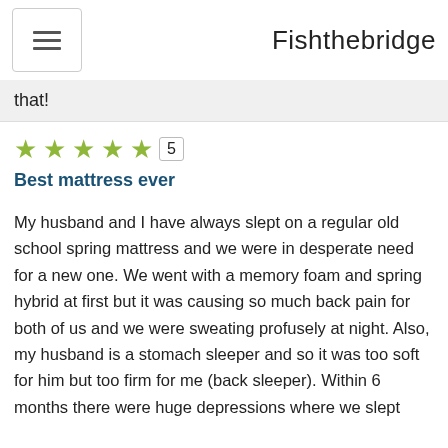Fishthebridge
that!
★★★★★ 5
Best mattress ever
My husband and I have always slept on a regular old school spring mattress and we were in desperate need for a new one. We went with a memory foam and spring hybrid at first but it was causing so much back pain for both of us and we were sweating profusely at night. Also, my husband is a stomach sleeper and so it was too soft for him but too firm for me (back sleeper). Within 6 months there were huge depressions where we slept